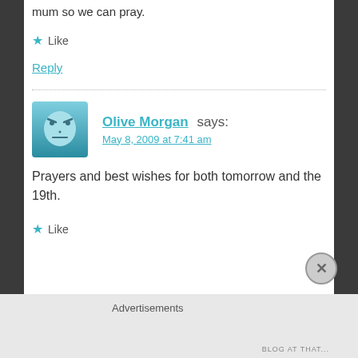mum so we can pray.
★ Like
Reply
Olive Morgan says:
May 8, 2009 at 7:41 am
Prayers and best wishes for both tomorrow and the 19th.
★ Like
Advertisements